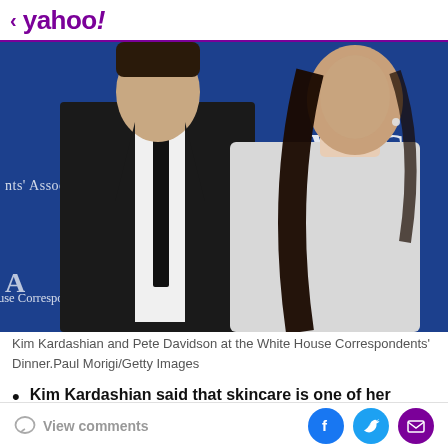< yahoo!
[Figure (photo): Kim Kardashian and Pete Davidson posing together at the White House Correspondents' Dinner. Pete wears a black suit with black tie; Kim wears a silver/white sleeveless gown with long dark hair. Blue WHCA event backdrop visible behind them.]
Kim Kardashian and Pete Davidson at the White House Correspondents' Dinner.Paul Morigi/Getty Images
Kim Kardashian said that skincare is one of her and Pete Davidson's biggest "bonding" activities
View comments